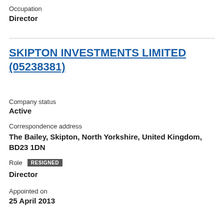Occupation
Director
SKIPTON INVESTMENTS LIMITED (05238381)
Company status
Active
Correspondence address
The Bailey, Skipton, North Yorkshire, United Kingdom, BD23 1DN
Role RESIGNED
Director
Appointed on
25 April 2013